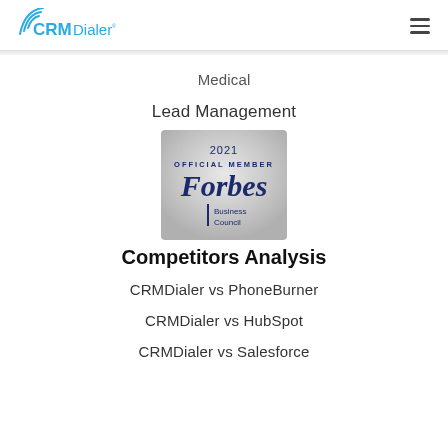CRMDialer [logo] [hamburger menu]
Medical
Lead Management
[Figure (logo): 2021 Official Member Forbes Business Council badge — square badge with silver gradient background, text '2021 OFFICIAL MEMBER' in dark uppercase letters, Forbes in large navy serif font, Business Council in smaller navy text with a vertical navy line separator]
Competitors Analysis
CRMDialer vs PhoneBurner
CRMDialer vs HubSpot
CRMDialer vs Salesforce